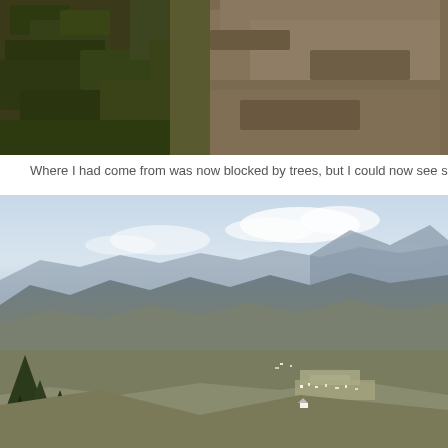[Figure (photo): Close-up photo of dry grassy terrain with a dirt path or rocky ground, viewed from above. Dark green grass and brown/grey rocky soil visible.]
Where I had come from was now blocked by trees, but I could now see straight down into
[Figure (photo): Wide panoramic landscape photo showing a mountain valley with a small town or settlement visible below. Blue-grey hazy mountains in the background under a partly cloudy sky. Pine trees in the foreground lower left.]